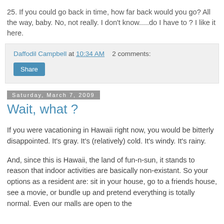25. If you could go back in time, how far back would you go? All the way, baby. No, not really. I don't know.....do I have to ? I like it here.
Daffodil Campbell at 10:34 AM   2 comments:
Share
Saturday, March 7, 2009
Wait, what ?
If you were vacationing in Hawaii right now, you would be bitterly disappointed. It's gray. It's (relatively) cold. It's windy. It's rainy.
And, since this is Hawaii, the land of fun-n-sun, it stands to reason that indoor activities are basically non-existant. So your options as a resident are: sit in your house, go to a friends house, see a movie, or bundle up and pretend everything is totally normal. Even our malls are open to the